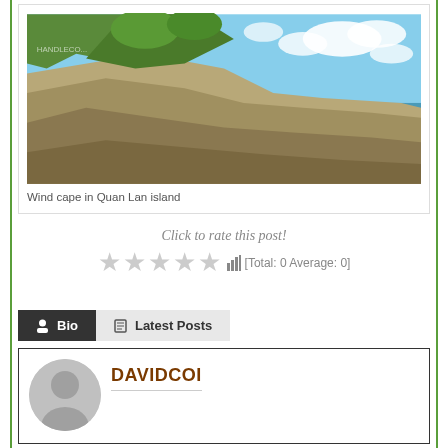[Figure (photo): Scenic photo of rocky cliffs with green vegetation overlooking blue ocean water at Wind cape in Quan Lan island]
Wind cape in Quan Lan island
Click to rate this post!
[Total: 0 Average: 0]
Bio
Latest Posts
DAVIDCOI